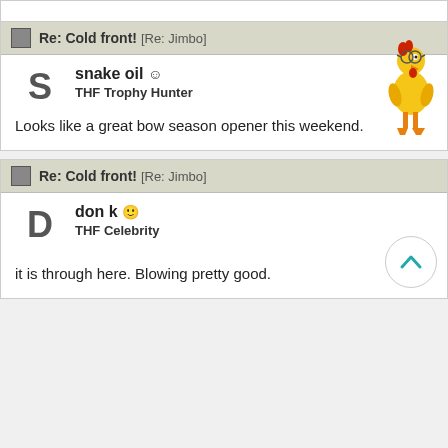Re: Cold front! [Re: Jimbo]
snake oil
THF Trophy Hunter
Looks like a great bow season opener this weekend.
[Figure (illustration): Cartoon rubber chicken illustration standing upright]
Re: Cold front! [Re: Jimbo]
don k
THF Celebrity
it is through here. Blowing pretty good.
[Figure (illustration): Scroll to top button with upward chevron arrow]